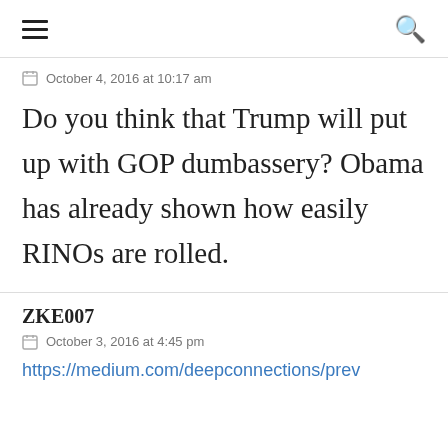≡ [hamburger menu] [search icon]
October 4, 2016 at 10:17 am
Do you think that Trump will put up with GOP dumbassery? Obama has already shown how easily RINOs are rolled.
ZKE007
October 3, 2016 at 4:45 pm
https://medium.com/deepconnections/prev